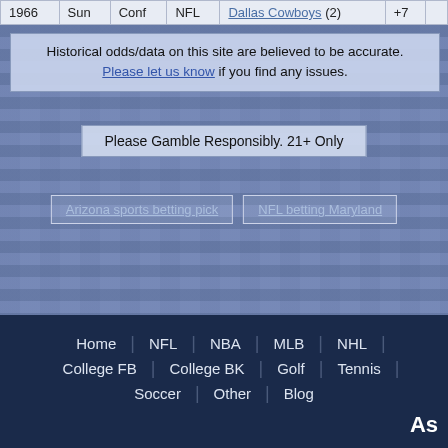| Year | Day | Type | League | Opponent | Spread |
| --- | --- | --- | --- | --- | --- |
| 1966 | Sun | Conf | NFL | Dallas Cowboys (2) | +7 |
Historical odds/data on this site are believed to be accurate. Please let us know if you find any issues.
Please Gamble Responsibly. 21+ Only
Arizona sports betting pick
NFL betting Maryland
Home | NFL | NBA | MLB | NHL | College FB | College BK | Golf | Tennis | Soccer | Other | Blog
As
iveThirtyEight
THE ACTION NETWORK
About Us | Terms of Use | Partners | Sitemap | Contact Us